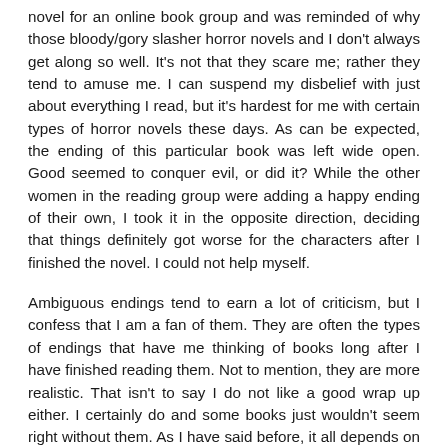novel for an online book group and was reminded of why those bloody/gory slasher horror novels and I don't always get along so well. It's not that they scare me; rather they tend to amuse me. I can suspend my disbelief with just about everything I read, but it's hardest for me with certain types of horror novels these days. As can be expected, the ending of this particular book was left wide open. Good seemed to conquer evil, or did it? While the other women in the reading group were adding a happy ending of their own, I took it in the opposite direction, deciding that things definitely got worse for the characters after I finished the novel. I could not help myself.
Ambiguous endings tend to earn a lot of criticism, but I confess that I am a fan of them. They are often the types of endings that have me thinking of books long after I have finished reading them. Not to mention, they are more realistic. That isn't to say I do not like a good wrap up either. I certainly do and some books just wouldn't seem right without them. As I have said before, it all depends on the book.